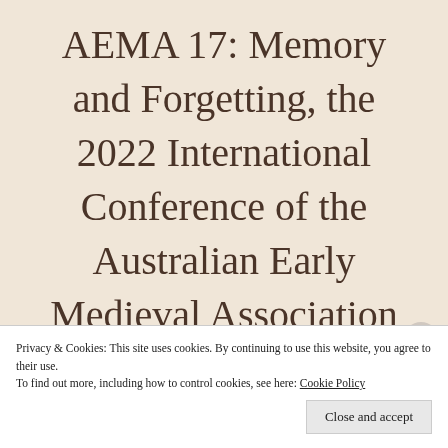AEMA 17: Memory and Forgetting, the 2022 International Conference of the Australian Early Medieval Association
Privacy & Cookies: This site uses cookies. By continuing to use this website, you agree to their use.
To find out more, including how to control cookies, see here: Cookie Policy